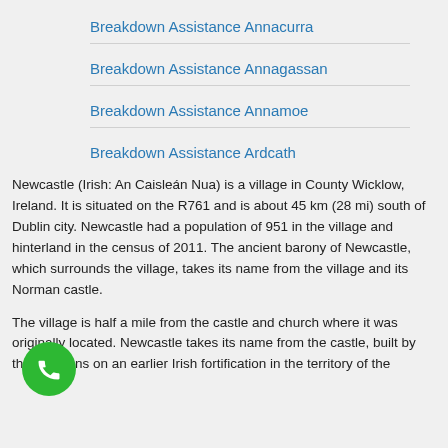Breakdown Assistance Annacurra
Breakdown Assistance Annagassan
Breakdown Assistance Annamoe
Breakdown Assistance Ardcath
Newcastle (Irish: An Caisleán Nua) is a village in County Wicklow, Ireland. It is situated on the R761 and is about 45 km (28 mi) south of Dublin city. Newcastle had a population of 951 in the village and hinterland in the census of 2011. The ancient barony of Newcastle, which surrounds the village, takes its name from the village and its Norman castle.
The village is half a mile from the castle and church where it was originally located. Newcastle takes its name from the castle, built by the Normans on an earlier Irish fortification in the territory of the